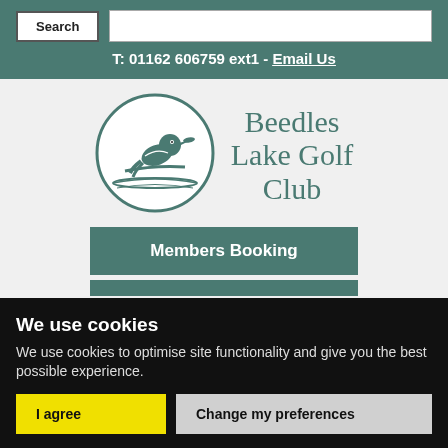Search
T: 01162 606759 ext1 - Email Us
[Figure (logo): Beedles Lake Golf Club circular logo with a kingfisher bird on a branch above water]
Beedles Lake Golf Club
Members Booking
We use cookies
We use cookies to optimise site functionality and give you the best possible experience.
I agree
Change my preferences